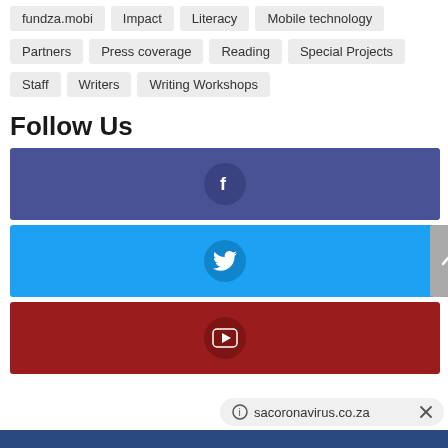fundza.mobi
Impact
Literacy
Mobile technology
Partners
Press coverage
Reading
Special Projects
Staff
Writers
Writing Workshops
Follow Us
[Figure (infographic): Facebook social media button — dark blue bar with Facebook 'f' icon in a circle]
[Figure (infographic): Twitter social media button — light blue bar with Twitter bird icon in a circle]
[Figure (infographic): YouTube social media button — dark red bar with YouTube play button icon in a circle]
sacoronavirus.co.za